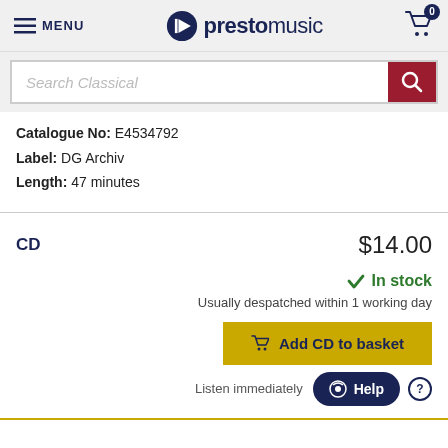MENU | prestomusic | Cart: 0
[Figure (screenshot): Search bar with placeholder text 'Search Classical' and dark red search button]
Catalogue No: E4534792
Label: DG Archiv
Length: 47 minutes
CD   $14.00
✓ In stock
Usually despatched within 1 working day
Add CD to basket
Listen immediately